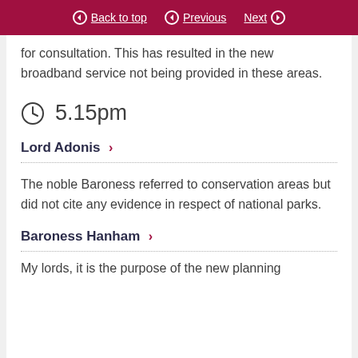Back to top | Previous | Next
for consultation. This has resulted in the new broadband service not being provided in these areas.
5.15pm
Lord Adonis
The noble Baroness referred to conservation areas but did not cite any evidence in respect of national parks.
Baroness Hanham
My Lords, it is the purpose of the new planning...